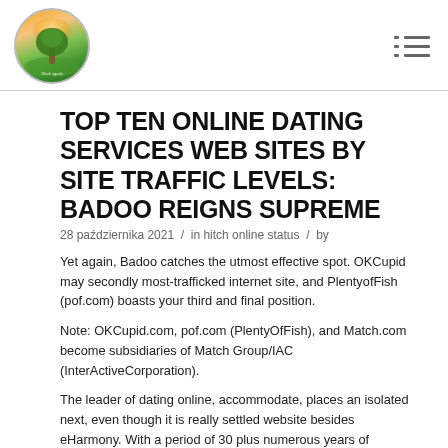[Figure (logo): Circular logo with tree illustration on gradient green/orange background with text]
TOP TEN ONLINE DATING SERVICES WEB SITES BY SITE TRAFFIC LEVELS: BADOO REIGNS SUPREME
28 października 2021 / in hitch online status / by
Yet again, Badoo catches the utmost effective spot. OKCupid may secondly most-trafficked internet site, and PlentyofFish (pof.com) boasts your third and final position.
Note: OKCupid.com, pof.com (PlentyOfFish), and Match.com become subsidiaries of Match Group/IAC (InterActiveCorporation).
The leader of dating online, accommodate, places an isolated next, even though it is really settled website besides eHarmony. With a period of 30 plus numerous years of procedure, accommodate has the competitive benefit from long-standing brand name familiarity and brand name devotion, extremely users are prepared to pay for their assistance. Likewise, its algorithmic